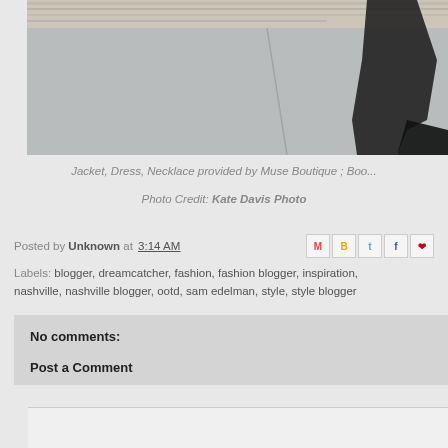[Figure (photo): Partial photo showing a person's boot/leg walking on a grey concrete sidewalk, with a white painted brick wall visible at top. The image is cropped showing only the lower portion of the scene.]
Jacket, Dress, Necklace provided by Muse Boutique ; Boo...
Photo Credit: Kate Davis Photo
Posted by Unknown at 3:14 AM
Labels: blogger, dreamcatcher, fashion, fashion blogger, inspiration, nashville, nashville blogger, ootd, sam edelman, style, style blogger
No comments:
Post a Comment